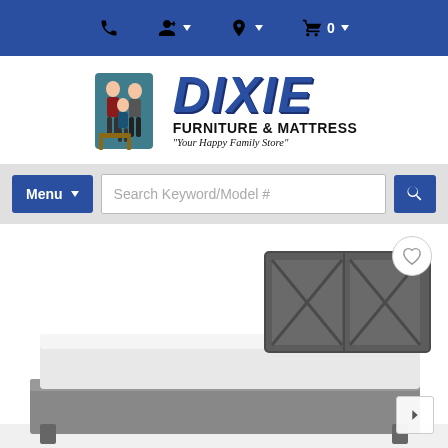Navigation bar with phone, account, location, and cart icons
[Figure (logo): Dixie Furniture & Mattress logo with cartoon family figures and text: DIXIE FURNITURE & MATTRESS "Your Happy Family Store"]
[Figure (screenshot): Search bar with Menu dropdown button and Search Keyword/Model # input field]
[Figure (photo): Product photo of a bed with gray/charcoal wood headboard with X-pattern design, white bedding and pillows, low platform frame. Wishlist heart icon in top right, navigation arrow in bottom right.]